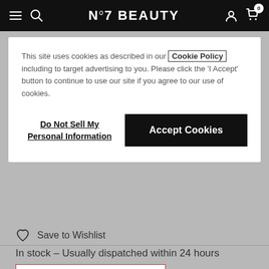No7 BEAUTY
This site uses cookies as described in our Cookie Policy including to target advertising to you. Please click the 'I Accept' button to continue to use our site if you agree to our use of cookies.
Do Not Sell My Personal Information
Accept Cookies
Save to Wishlist
In stock – Usually dispatched within 24 hours
Free Gift When You Spend $65+